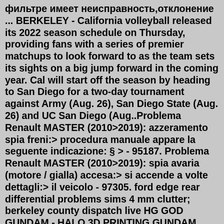фильтре имеет неисправность,отклонение ... BERKELEY - California volleyball released its 2022 season schedule on Thursday, providing fans with a series of premier matchups to look forward to as the team sets its sights on a big jump forward in the coming year. Cal will start off the season by heading to San Diego for a two-day tournament against Army (Aug. 26), San Diego State (Aug. 26) and UC San Diego (Aug..Problema Renault MASTER (2010>2019): azzeramento spia freni:> procedura manuale appare la seguente indicazione: § > - 95187. Problema Renault MASTER (2010>2019): spia avaria (motore / gialla) accesa:> si accende a volte dettagli:> il veicolo - 97305. ford edge rear differential problems sims 4 mm clutter; berkeley county dispatch live HG GOD GUNDAM - HALO 3D PRINTING GUNDAM GUNDAM MOD. Check print details. by Velvetoolbox. 3D Printer BeamUp S save download cults. 19.01 $ MA37 AMMO COUNTER - NERF - HALO - PRINTABLE 3D MOD ... KELLY HELMET COSTUME HALO LEGENDS K. Check print